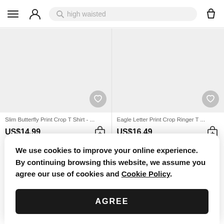[Figure (screenshot): Navigation bar with hamburger menu icon, user/account icon, search bar with placeholder text 'high waisted', and shopping bag icon]
[Figure (photo): Product image placeholder for Slim Butterfly Print Crop T Shirt with heart/wishlist button]
Slim Butterfly Print Crop T Shirt - ...
US$14.99
[Figure (photo): Product image placeholder for Eagle Letter Print Crop Ringer T with heart/wishlist button]
Eagle Letter Print Crop Ringer T ...
US$16.49
We use cookies to improve your online experience. By continuing browsing this website, we assume you agree our use of cookies and Cookie Policy.
AGREE